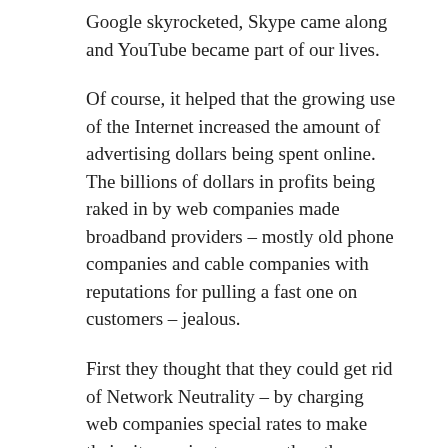Google skyrocketed, Skype came along and YouTube became part of our lives.
Of course, it helped that the growing use of the Internet increased the amount of advertising dollars being spent online. The billions of dollars in profits being raked in by web companies made broadband providers – mostly old phone companies and cable companies with reputations for pulling a fast one on customers – jealous.
First they thought that they could get rid of Network Neutrality – by charging web companies special rates to make their sites easier to access than the non-paying ones. That turned out to be a political hairball. Comcast is finding that out the hard way.